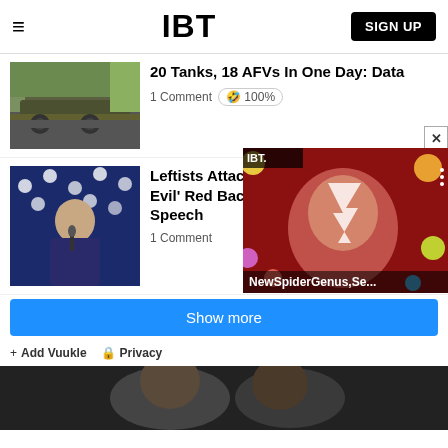IBT | SIGN UP
[Figure (photo): Destroyed tank on road with trees in background]
20 Tanks, 18 AFVs In One Day: Data
1 Comment 🤣 100%
[Figure (photo): Biden speaking at podium with American flag backdrop]
Leftists Attack Biden For 'Satanic And Evil' Red Backdrop During Philadelphia Speech
1 Comment
[Figure (photo): Video popup showing colorful portrait artwork - NewSpiderGenus,Se...]
Show more
Add Vuukle Privacy
[Figure (photo): Photo of two people at bottom of page]